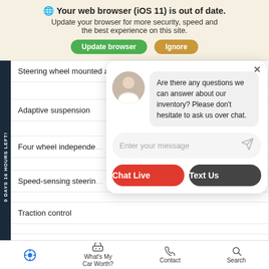🌐 Your web browser (iOS 11) is out of date. Update your browser for more security, speed and the best experience on this site.
Steering wheel mounted audio controls
Adaptive suspension
Four wheel independent
Speed-sensing steering
Traction control
4-Wheel Disc Brakes
ABS brakes
0 DAYS 16 HOURS LEFT!
[Figure (screenshot): Chat widget overlay with avatar photo, message bubble reading 'Are there any questions we can answer about our inventory? Please don't hesitate to ask us over chat.', message input field, Chat Live (red) and Text Us (dark gray) buttons]
Accessibility icon | What's My Car Worth? | Contact | Search